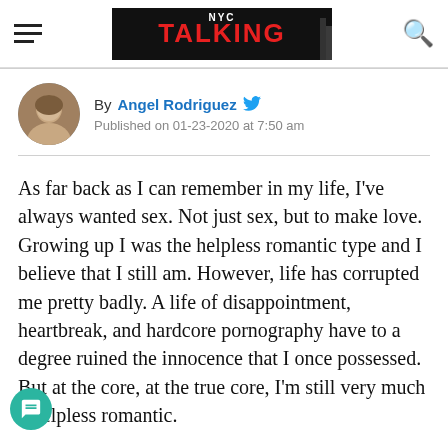NYC TALKING
By Angel Rodriguez — Published on 01-23-2020 at 7:50 am
As far back as I can remember in my life, I've always wanted sex. Not just sex, but to make love. Growing up I was the helpless romantic type and I believe that I still am. However, life has corrupted me pretty badly. A life of disappointment, heartbreak, and hardcore pornography have to a degree ruined the innocence that I once possessed. But at the core, at the true core, I'm still very much a helpless romantic.
I remember at night I used to go to sleep listening to soft, romantic music. This was a part of my daily